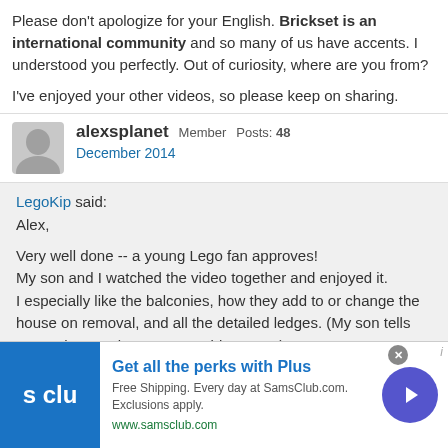Please don't apologize for your English. Brickset is an international community and so many of us have accents. I understood you perfectly. Out of curiosity, where are you from?

I've enjoyed your other videos, so please keep on sharing.
alexsplanet Member Posts: 48 December 2014
LegoKip said:
Alex,

Very well done -- a young Lego fan approves!
My son and I watched the video together and enjoyed it.
I especially like the balconies, how they add to or change the house on removal, and all the detailed ledges. (My son tells me we have to buy "Tower Bridge" now.)

Please don't apologize for your English. Brickset is an international
[Figure (infographic): Advertisement banner for SamsClub.com with logo showing 's clu', text 'Get all the perks with Plus', 'Free Shipping. Every day at SamsClub.com. Exclusions apply.' and 'www.samsclub.com', plus a circular arrow button]